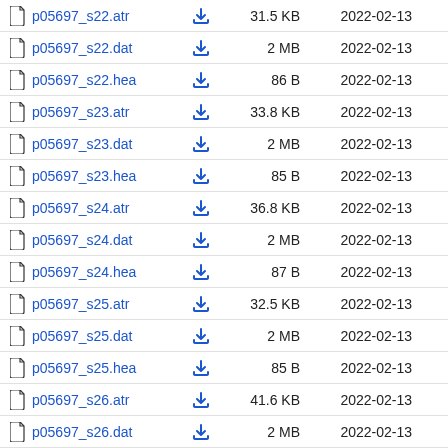p05697_s22.atr  31.5 KB  2022-02-13
p05697_s22.dat  2 MB  2022-02-13
p05697_s22.hea  86 B  2022-02-13
p05697_s23.atr  33.8 KB  2022-02-13
p05697_s23.dat  2 MB  2022-02-13
p05697_s23.hea  85 B  2022-02-13
p05697_s24.atr  36.8 KB  2022-02-13
p05697_s24.dat  2 MB  2022-02-13
p05697_s24.hea  87 B  2022-02-13
p05697_s25.atr  32.5 KB  2022-02-13
p05697_s25.dat  2 MB  2022-02-13
p05697_s25.hea  85 B  2022-02-13
p05697_s26.atr  41.6 KB  2022-02-13
p05697_s26.dat  2 MB  2022-02-13